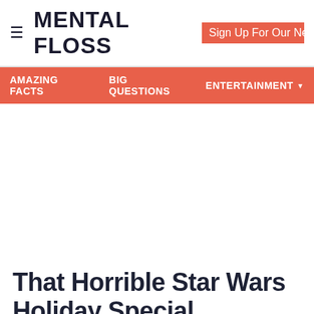≡ MENTAL FLOSS  Sign Up For Our Ne
AMAZING FACTS  BIG QUESTIONS  ENTERTAINMENT ▼
That Horrible Star Wars Holiday Special